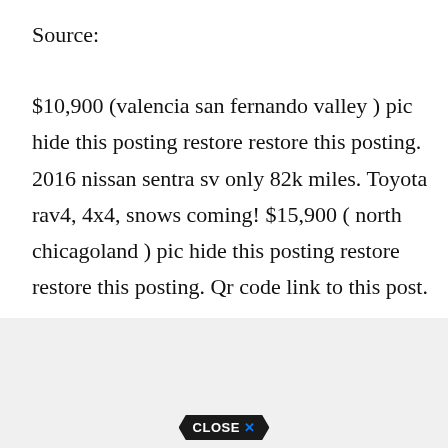Source:
$10,900 (valencia san fernando valley ) pic hide this posting restore restore this posting. 2016 nissan sentra sv only 82k miles. Toyota rav4, 4x4, snows coming! $15,900 ( north chicagoland ) pic hide this posting restore restore this posting. Qr code link to this post.
[Figure (other): Advertisement banner with a CLOSE X button at the bottom]